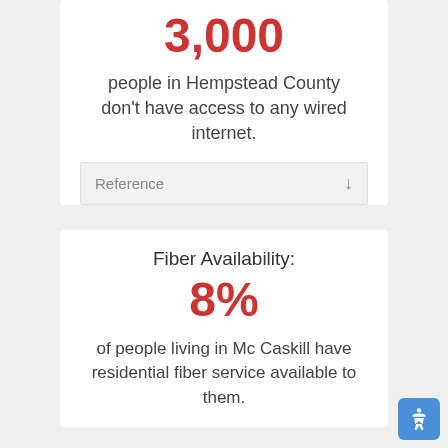3,000
people in Hempstead County don't have access to any wired internet.
Reference
Fiber Availability:
8%
of people living in Mc Caskill have residential fiber service available to them.